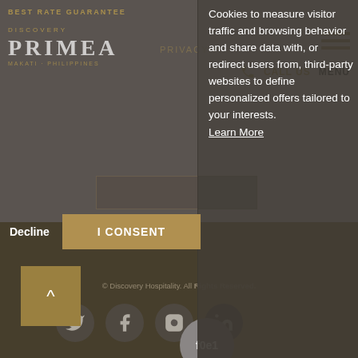[Figure (screenshot): Discovery Primea hotel website screenshot with cookie consent overlay. Background shows hotel website with logo, navigation, social icons, and footer. A semi-transparent dark popup panel overlays the right portion showing cookie consent text and buttons.]
Cookies to measure visitor traffic and browsing behavior and share data with, or redirect users from, third-party websites to define personalized offers tailored to your interests.
Learn More
Decline
I CONSENT
© Discovery Hospitality. All Rights Reserved.